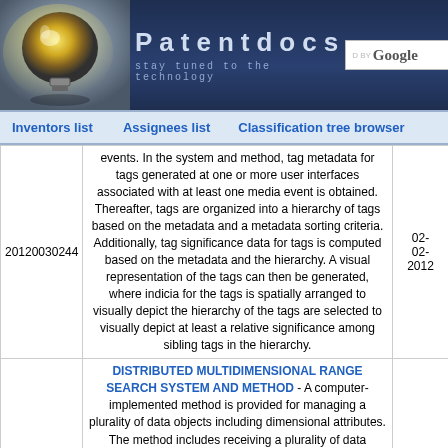[Figure (logo): Patentdocs website header with lightbulb logo, brand name 'Patentdocs', tagline 'stay tuned to the technology', and Google search box]
Inventors list   Assignees list   Classification tree browser
|  | Description | Date |
| --- | --- | --- |
| 20120030244 | events. In the system and method, tag metadata for tags generated at one or more user interfaces associated with at least one media event is obtained. Thereafter, tags are organized into a hierarchy of tags based on the metadata and a metadata sorting criteria. Additionally, tag significance data for tags is computed based on the metadata and the hierarchy. A visual representation of the tags can then be generated, where indicia for the tags is spatially arranged to visually depict the hierarchy of the tags are selected to visually depict at least a relative significance among sibling tags in the hierarchy. | 02-02-2012 |
|  | DISTRIBUTED MULTIDIMENSIONAL RANGE SEARCH SYSTEM AND METHOD - A computer-implemented method is provided for managing a plurality of data objects including dimensional attributes. The method includes receiving a plurality of data objects including dimensional attributes and assigning each of a |  |